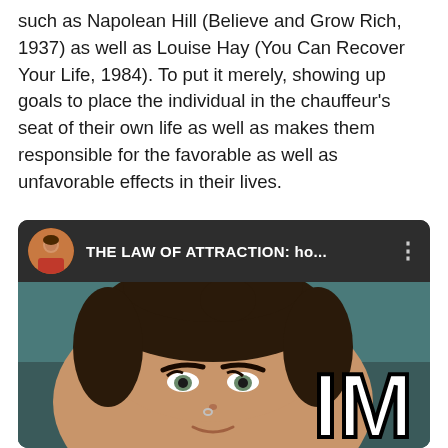such as Napolean Hill (Believe and Grow Rich, 1937) as well as Louise Hay (You Can Recover Your Life, 1984). To put it merely, showing up goals to place the individual in the chauffeur's seat of their own life as well as makes them responsible for the favorable as well as unfavorable effects in their lives.
[Figure (screenshot): Screenshot of a video player showing a young woman with dark hair in a bun. The video header shows a circular avatar thumbnail, the title 'THE LAW OF ATTRACTION: ho...' and a three-dot menu icon. In the lower right corner large white text reads 'IM'. The background behind the subject is teal/dark green.]